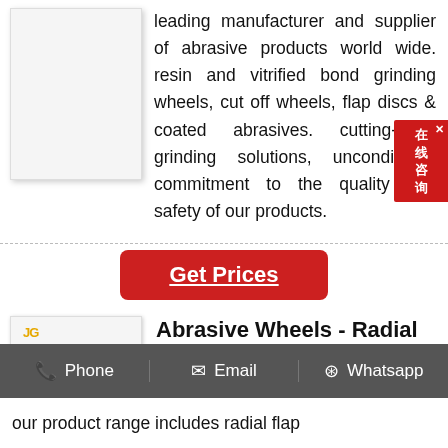leading manufacturer and supplier of abrasive products world wide. resin and vitrified bond grinding wheels, cut off wheels, flap discs & coated abrasives. cutting-edge grinding solutions, unconditional commitment to the quality and safety of our products.
Get Prices
Abrasive Wheels - Radial Flap Wheels Importer from Coimbatore
backed by a team of highly qualified
Phone   Email   Whatsapp
our product range includes radial flap